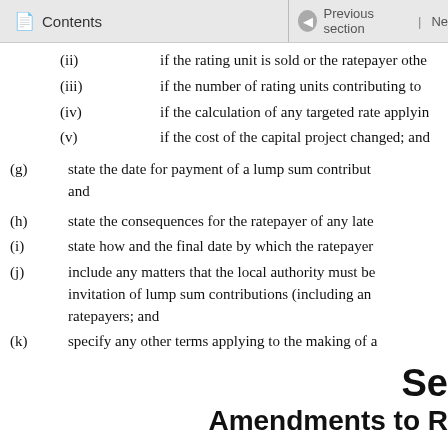Contents | Previous section | Ne
(ii) if the rating unit is sold or the ratepayer othe
(iii) if the number of rating units contributing to
(iv) if the calculation of any targeted rate applyin
(v) if the cost of the capital project changed; and
(g) state the date for payment of a lump sum contribut and
(h) state the consequences for the ratepayer of any late
(i) state how and the final date by which the ratepayer
(j) include any matters that the local authority must be invitation of lump sum contributions (including an ratepayers; and
(k) specify any other terms applying to the making of a
Se
Amendments to R